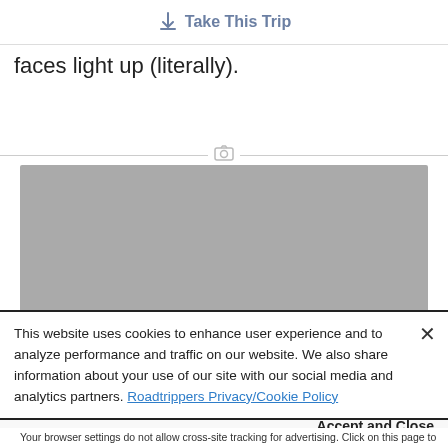Take This Trip
faces light up (literally).
[Figure (photo): Gray placeholder image area with a camera icon divider above it]
This website uses cookies to enhance user experience and to analyze performance and traffic on our website. We also share information about your use of our site with our social media and analytics partners. Roadtrippers Privacy/Cookie Policy
Accept and Close
Your browser settings do not allow cross-site tracking for advertising. Click on this page to allow AdRoll to use cross-site tracking to tailor ads to you. Learn more or opt out of this AdRoll tracking by clicking here. This message only appears once.